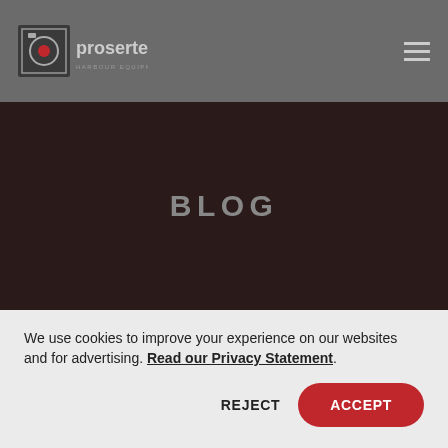[Figure (logo): Prosertek Harbour Equipment logo — square icon with stylized camera/target symbol and wordmark 'prosertek HARBOUR EQUIPMENT']
BLOG
We use cookies to improve your experience on our websites and for advertising. Read our Privacy Statement.
REJECT
ACCEPT